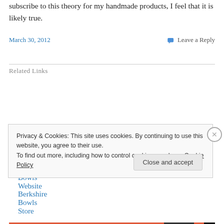subscribe to this theory for my handmade products, I feel that it is likely true.
March 30, 2012
Leave a Reply
Related Links
Berkshire Bowls Website
Berkshire Bowls Store
Privacy & Cookies: This site uses cookies. By continuing to use this website, you agree to their use.
To find out more, including how to control cookies, see here: Cookie Policy
Close and accept